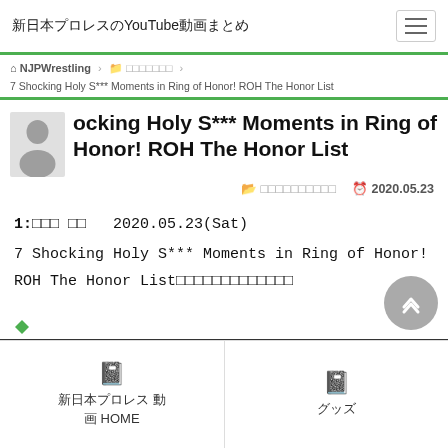新日本プロレスのYouTube動画まとめ
NJPWrestling > □□□□□□□ > 7 Shocking Holy S*** Moments in Ring of Honor! ROH The Honor List
7 Shocking Holy S*** Moments in Ring of Honor! ROH The Honor List
□□□□□□□□□□   2020.05.23
1:□□□ □□   2020.05.23(Sat)
7 Shocking Holy S*** Moments in Ring of Honor!
ROH The Honor List□□□□□□□□□□□□□
新日本プロレス 動画 HOME   グッズ